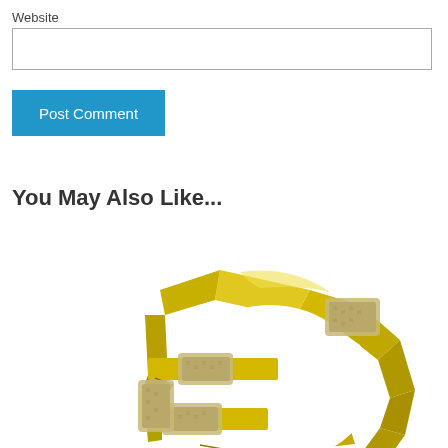Website
[Figure (illustration): Empty text input field for website URL]
Post Comment
You May Also Like...
[Figure (illustration): 3D golden cracked Euro currency symbol with adhesive bandage patches on the cracks, viewed from slightly above, partially cropped at bottom]